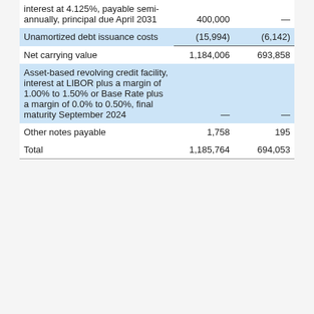| Description | Value 1 | Value 2 |
| --- | --- | --- |
| interest at 4.125%, payable semi-annually, principal due April 2031 | 400,000 | — |
| Unamortized debt issuance costs | (15,994) | (6,142) |
| Net carrying value | 1,184,006 | 693,858 |
| Asset-based revolving credit facility, interest at LIBOR plus a margin of 1.00% to 1.50% or Base Rate plus a margin of 0.0% to 0.50%, final maturity September 2024 | — | — |
| Other notes payable | 1,758 | 195 |
| Total | 1,185,764 | 694,053 |